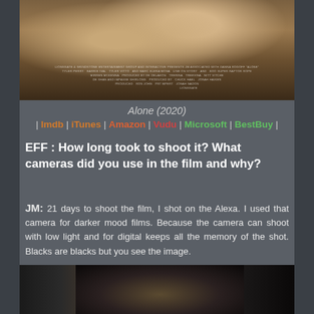[Figure (photo): Movie poster for Alone (2020) showing two figures in dark, warm-toned lighting]
Alone (2020)
| Imdb | iTunes | Amazon | Vudu | Microsoft | BestBuy |
EFF : How long took to shoot it? What cameras did you use in the film and why?
JM: 21 days to shoot the film, I shot on the Alexa. I used that camera for darker mood films. Because the camera can shoot with low light and for digital keeps all the memory of the shot. Blacks are blacks but you see the image.
[Figure (photo): Dark film still showing a person in low-light setting]